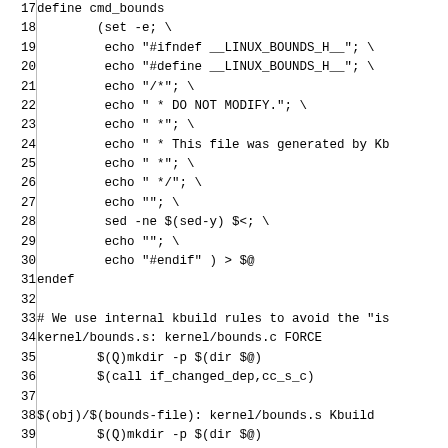Source code listing lines 17-47, Makefile content defining cmd_bounds macro, kernel build rules, and asm-offsets generation setup.